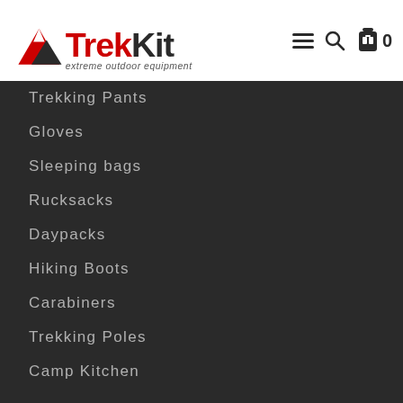TrekKit extreme outdoor equipment — navigation header with menu, search, and cart icons
Trekking Pants
Gloves
Sleeping bags
Rucksacks
Daypacks
Hiking Boots
Carabiners
Trekking Poles
Camp Kitchen
WE ACCEPT
Credit Cards
Debit Cards
Net Banking
Razorpay